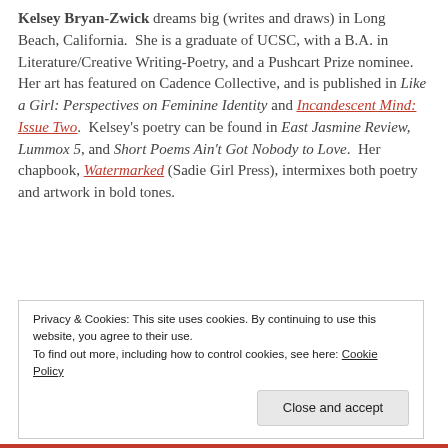Kelsey Bryan-Zwick dreams big (writes and draws) in Long Beach, California. She is a graduate of UCSC, with a B.A. in Literature/Creative Writing-Poetry, and a Pushcart Prize nominee. Her art has featured on Cadence Collective, and is published in Like a Girl: Perspectives on Feminine Identity and Incandescent Mind: Issue Two. Kelsey's poetry can be found in East Jasmine Review, Lummox 5, and Short Poems Ain't Got Nobody to Love. Her chapbook, Watermarked (Sadie Girl Press), intermixes both poetry and artwork in bold tones.
Privacy & Cookies: This site uses cookies. By continuing to use this website, you agree to their use. To find out more, including how to control cookies, see here: Cookie Policy